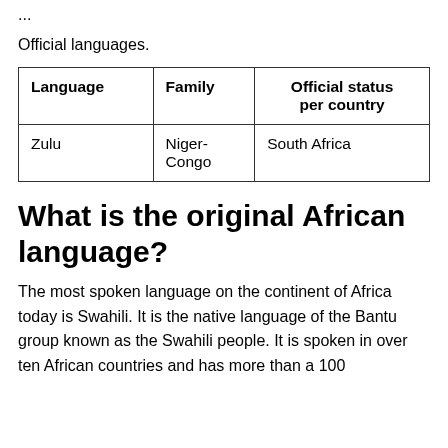...
Official languages.
| Language | Family | Official status per country |
| --- | --- | --- |
| Zulu | Niger-Congo | South Africa |
What is the original African language?
The most spoken language on the continent of Africa today is Swahili. It is the native language of the Bantu group known as the Swahili people. It is spoken in over ten African countries and has more than a 100